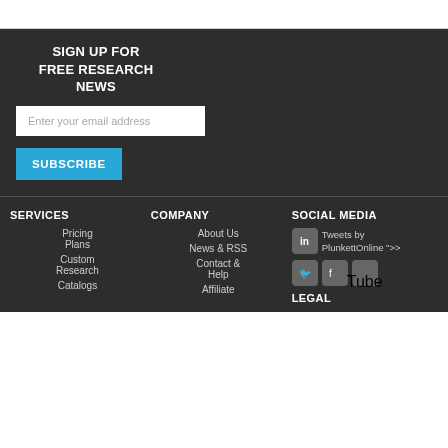SIGN UP FOR FREE RESEARCH NEWS
Enter your email address
SUBSCRIBE
SERVICES
Pricing Plans
Custom Research
Catalogs
COMPANY
About Us
News & RSS
Contact & Help
Affiliate
SOCIAL MEDIA
Tweets by PlunkettOnline ">
LEGAL